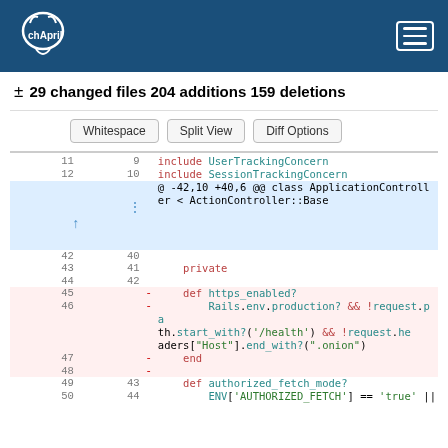chApril
± 29 changed files 204 additions 159 deletions
Whitespace  Split View  Diff Options
| old ln | new ln | mark | code |
| --- | --- | --- | --- |
| 11 | 9 |  | include UserTrackingConcern |
| 12 | 10 |  | include SessionTrackingConcern |
|  |  |  | @ -42,10 +40,6 @@ class ApplicationController < ActionController::Base |
| 42 | 40 |  |  |
| 43 | 41 |  |     private |
| 44 | 42 |  |  |
| 45 |  | -  |     def https_enabled? |
| 46 |  | -  |         Rails.env.production? && !request.path.start_with?('/health') && !request.headers["Host"].end_with?(".onion") |
| 47 |  | -  |     end |
| 48 |  | -  |  |
| 49 | 43 |  |     def authorized_fetch_mode? |
| 50 | 44 |  |         ENV['AUTHORIZED_FETCH'] == 'true' || |